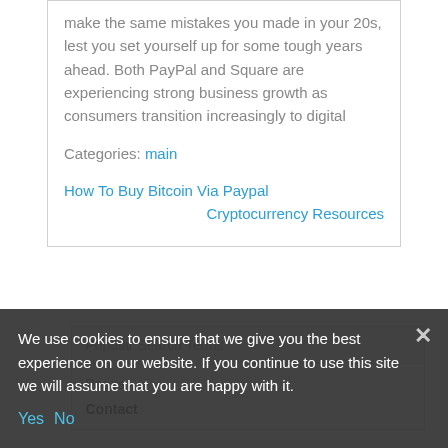make the same mistakes you made in your 20s, lest you set yourself up for some tough years ahead. Both PayPal and Square are experiencing strong business growth as consumers transition increasingly to digital
Categories: main
How To Buy Bitcoin Via Paypal
Cryptocurrency Resources
Popular Search Terms
Pages
Contact
We use cookies to ensure that we give you the best experience on our website. If you continue to use this site we will assume that you are happy with it.
Yes  No